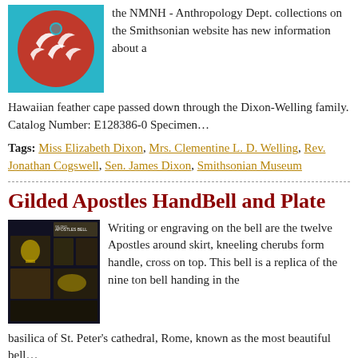the NMNH - Anthropology Dept. collections on the Smithsonian website has new information about a Hawaiian feather cape passed down through the Dixon-Welling family. Catalog Number: E128386-0 Specimen…
[Figure (photo): Circular red and white decorative artifact (Hawaiian feather cape or shield) on a teal background]
Tags: Miss Elizabeth Dixon, Mrs. Clementine L. D. Welling, Rev. Jonathan Cogswell, Sen. James Dixon, Smithsonian Museum
Gilded Apostles HandBell and Plate
[Figure (photo): Collage of photos showing a gilded apostles handbell and plate against a dark background]
Writing or engraving on the bell are the twelve Apostles around skirt, kneeling cherubs form handle, cross on top. This bell is a replica of the nine ton bell handing in the basilica of St. Peter's cathedral, Rome, known as the most beautiful bell…